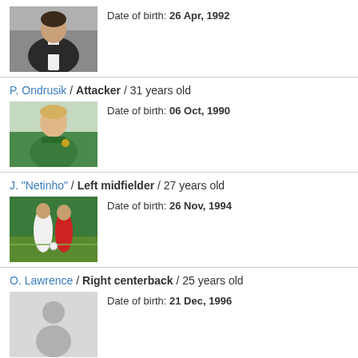Date of birth: 26 Apr, 1992
P. Ondrusik / Attacker / 31 years old
Date of birth: 06 Oct, 1990
J. "Netinho" / Left midfielder / 27 years old
Date of birth: 26 Nov, 1994
O. Lawrence / Right centerback / 25 years old
Date of birth: 21 Dec, 1996
C. Mbaga / Striker / 29 years old
Date of birth: 26 Oct, 1992